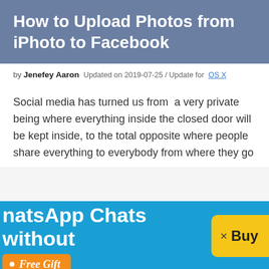How to Upload Photos from iPhoto to Facebook
by Jenefey Aaron  Updated on 2019-07-25 / Update for  OS X
Social media has turned us from a very private being where everything inside the closed door will be kept inside, to the total opposite where people share everything to everybody from where they go
[Figure (screenshot): Advertisement banner: WhatsApp Chats without - Free Gift badge in orange, Buy button in yellow on the right side]